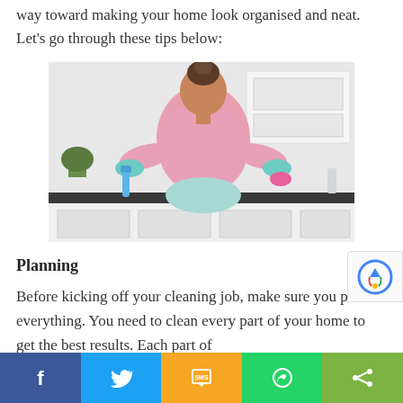way toward making your home look organised and neat. Let's go through these tips below:
[Figure (photo): Woman seen from behind standing in a kitchen wearing a pink sweater and teal rubber gloves, holding cleaning supplies, with white kitchen cabinets in the background.]
Planning
Before kicking off your cleaning job, make sure you plan everything. You need to clean every part of your home to get the best results. Each part of
Facebook Twitter SMS WhatsApp Share